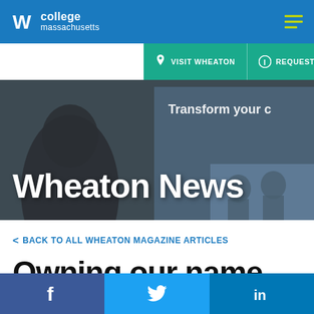Wheaton College Massachusetts
[Figure (screenshot): Wheaton College website navigation bar with Visit Wheaton, Request Info, and Apply Now links]
Wheaton News
< BACK TO ALL WHEATON MAGAZINE ARTICLES
Owning our name
[Figure (infographic): Social media share bar with Facebook, Twitter, and LinkedIn icons]